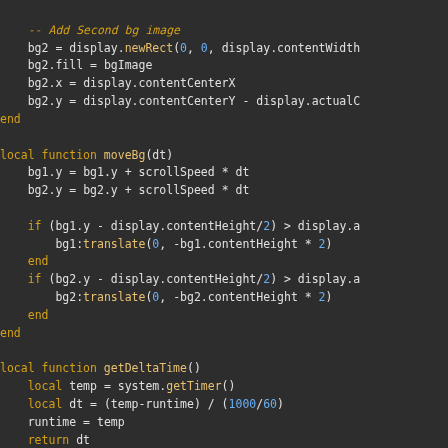[Figure (screenshot): Code editor screenshot showing Lua code with dark background. Orange keywords (local, function, end, if, return), white/light variable names, blue numbers. Code includes moveBg function, getDeltaTime function, and enterFrame function with scrolling background logic.]